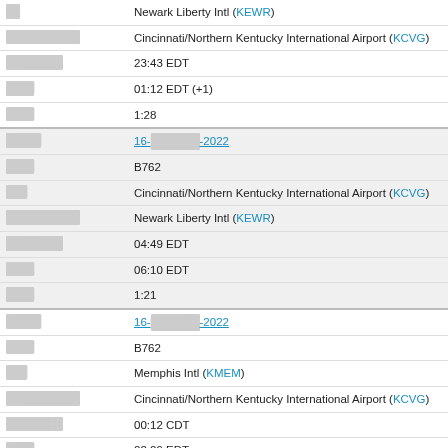| Field | Value |
| --- | --- |
| ████ | Newark Liberty Intl (KEWR) |
| ████ █████ | Cincinnati/Northern Kentucky International Airport (KCVG) |
| ████████ | 23:43 EDT |
| ████ | 01:12 EDT (+1) |
| ████ | 1:28 |
| █████ | 16-██████-2022 |
| ████ | B762 |
| ███ | Cincinnati/Northern Kentucky International Airport (KCVG) |
| █████ █████ | Newark Liberty Intl (KEWR) |
| ████████ | 04:49 EDT |
| ████ | 06:10 EDT |
| ████ | 1:21 |
| █████ | 16-██████-2022 |
| ████ | B762 |
| ███ | Memphis Intl (KMEM) |
| █████ █████ | Cincinnati/Northern Kentucky International Airport (KCVG) |
| ████████ | 00:12 CDT |
| ████ | 02:09 EDT |
| ████ | 0:56 |